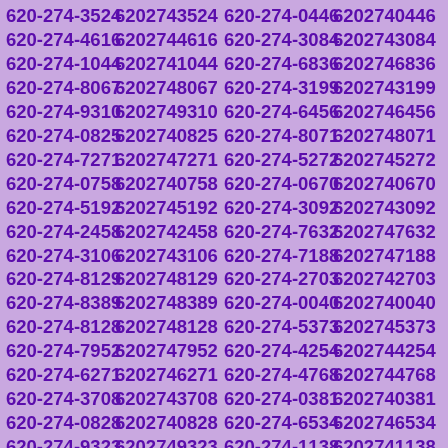620-274-3524 6202743524 620-274-0446 6202740446 620-274-4616 6202744616 620-274-3084 6202743084 620-274-1044 6202741044 620-274-6836 6202746836 620-274-8067 6202748067 620-274-3199 6202743199 620-274-9310 6202749310 620-274-6456 6202746456 620-274-0825 6202740825 620-274-8071 6202748071 620-274-7271 6202747271 620-274-5272 6202745272 620-274-0758 6202740758 620-274-0670 6202740670 620-274-5192 6202745192 620-274-3092 6202743092 620-274-2458 6202742458 620-274-7632 6202747632 620-274-3106 6202743106 620-274-7188 6202747188 620-274-8129 6202748129 620-274-2703 6202742703 620-274-8389 6202748389 620-274-0040 6202740040 620-274-8128 6202748128 620-274-5373 6202745373 620-274-7952 6202747952 620-274-4254 6202744254 620-274-6271 6202746271 620-274-4768 6202744768 620-274-3708 6202743708 620-274-0381 6202740381 620-274-0828 6202740828 620-274-6534 6202746534 620-274-9323 6202749323 620-274-1138 6202741138 620-274-3814 6202743814 620-274-6160 6202746160 620-274-4279 6202744279 620-274-2969 6202742969